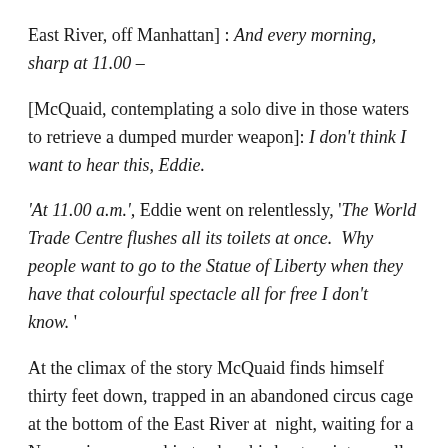East River, off Manhattan] : And every morning, sharp at 11.00 –
[McQuaid, contemplating a solo dive in those waters to retrieve a dumped murder weapon]: I don't think I want to hear this, Eddie.
'At 11.00 a.m.', Eddie went on relentlessly, 'The World Trade Centre flushes all its toilets at once.  Why people want to go to the Statue of Liberty when they have that colourful spectacle all for free I don't know. '
At the climax of the story McQuaid finds himself thirty feet down, trapped in an abandoned circus cage at the bottom of the East River at  night, waiting for a Norwegian cargo ship to chop his boat up into small chunks.  (You'll have to read the book.) It's tense and